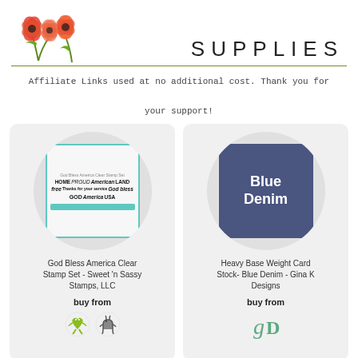[Figure (illustration): Watercolor poppy flowers decoration on left side of header]
SUPPLIES
Affiliate Links used at no additional cost. Thank you for your support!
[Figure (photo): God Bless America Clear Stamp Set product image with teal border showing patriotic text stamps including HOME, PROUD to be American, LAND of the free, GOD bless, USA]
God Bless America Clear Stamp Set - Sweet 'n Sassy Stamps, LLC
buy from
[Figure (logo): Two retailer logos - green gecko/lizard logo and a donkey/animal logo for stamp retailers]
[Figure (photo): Blue Denim colored cardstock swatch - a solid blue-grey square]
Heavy Base Weight Card Stock- Blue Denim - Gina K Designs
buy from
[Figure (logo): gD logo for Gina K Designs retailer]